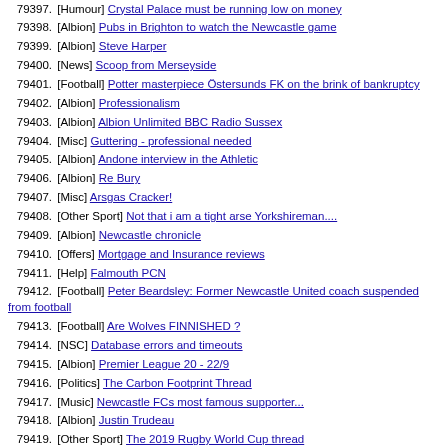79397. [Humour] Crystal Palace must be running low on money
79398. [Albion] Pubs in Brighton to watch the Newcastle game
79399. [Albion] Steve Harper
79400. [News] Scoop from Merseyside
79401. [Football] Potter masterpiece Östersunds FK on the brink of bankruptcy
79402. [Albion] Professionalism
79403. [Albion] Albion Unlimited BBC Radio Sussex
79404. [Misc] Guttering - professional needed
79405. [Albion] Andone interview in the Athletic
79406. [Albion] Re Bury
79407. [Misc] Arsgas Cracker!
79408. [Other Sport] Not that i am a tight arse Yorkshireman....
79409. [Albion] Newcastle chronicle
79410. [Offers] Mortgage and Insurance reviews
79411. [Help] Falmouth PCN
79412. [Football] Peter Beardsley: Former Newcastle United coach suspended from football
79413. [Football] Are Wolves FINNISHED ?
79414. [NSC] Database errors and timeouts
79415. [Albion] Premier League 20 - 22/9
79416. [Politics] The Carbon Footprint Thread
79417. [Music] Newcastle FCs most famous supporter...
79418. [Albion] Justin Trudeau
79419. [Other Sport] The 2019 Rugby World Cup thread
79420. [Albion] Compare and Contrast
79421. [Food] Whats the best place for a breakfast in Old Shoreham area?
79422. [Other Sport] The Rugby World Cup 2019 Thread